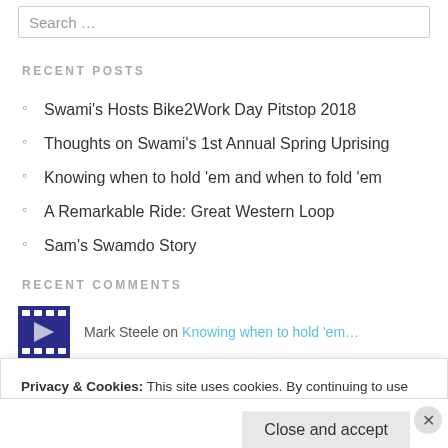Search …
RECENT POSTS
Swami's Hosts Bike2Work Day Pitstop 2018
Thoughts on Swami's 1st Annual Spring Uprising
Knowing when to hold 'em and when to fold 'em
A Remarkable Ride: Great Western Loop
Sam's Swamdo Story
RECENT COMMENTS
Mark Steele on Knowing when to hold 'em…
Privacy & Cookies: This site uses cookies. By continuing to use this website, you agree to their use. To find out more, including how to control cookies, see here: Cookie Policy
Close and accept